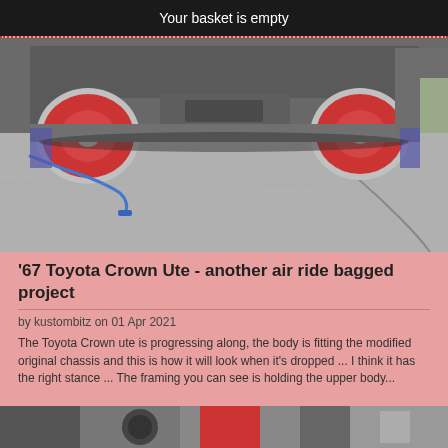Your basket is empty
[Figure (photo): Rear underside view of a lowered vintage car (1967 Toyota Crown Ute) on a concrete surface, showing red wheels/rims and a blue air line hose, sitting very low to the ground]
'67 Toyota Crown Ute - another air ride bagged project
by kustombitz on 01 Apr 2021
The Toyota Crown ute is progressing along, the body is fitting the modified original chassis and this is how it will look when it's dropped ... I think it has the right stance ... The framing you can see is holding the upper body...
[Figure (photo): Partial view of another vehicle or workshop scene at the bottom of the page]